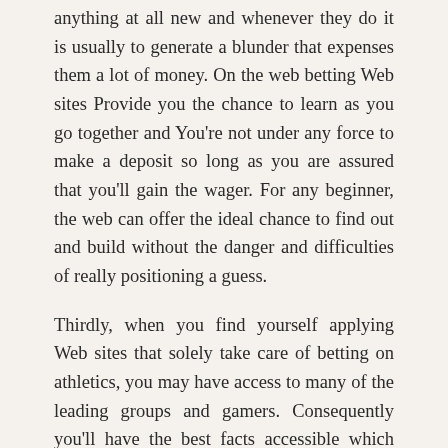anything at all new and whenever they do it is usually to generate a blunder that expenses them a lot of money. On the web betting Web sites Provide you the chance to learn as you go together and You're not under any force to make a deposit so long as you are assured that you'll gain the wager. For any beginner, the web can offer the ideal chance to find out and build without the danger and difficulties of really positioning a guess.
Thirdly, when you find yourself applying Web sites that solely take care of betting on athletics, you may have access to many of the leading groups and gamers. Consequently you'll have the best facts accessible which will raise your probabilities of winning. You should be able to Test figures and recreation stories on gamers that will provide you with an idea of who to guess on. It also suggests which you can choose players with better skills and ability and so enhance your odds of successful.